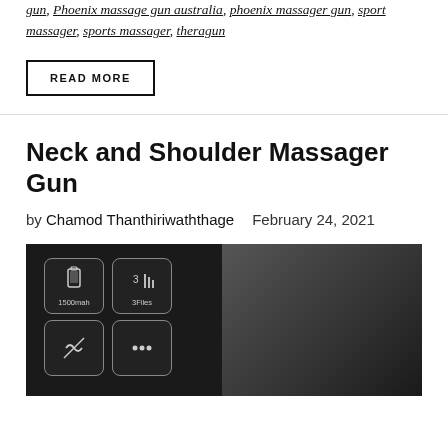gun, Phoenix massage gun australia, phoenix massager gun, sport massager, sports massager, theragun
READ MORE
Neck and Shoulder Massager Gun
by Chamod Thanthiriwaththage  February 24, 2021
[Figure (photo): Product feature icons on dark background showing: battery icon (1500mah), speed icon (3Files with 3 bars), plus two more icons below, alongside a massage gun product image]